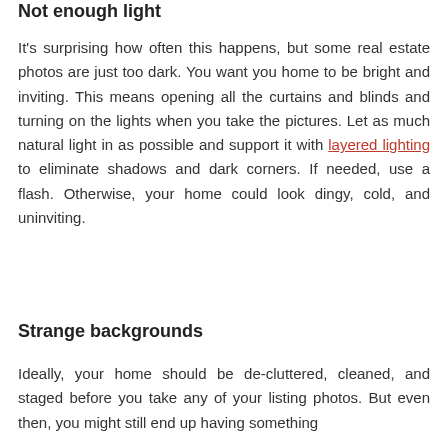Not enough light
It's surprising how often this happens, but some real estate photos are just too dark. You want you home to be bright and inviting. This means opening all the curtains and blinds and turning on the lights when you take the pictures. Let as much natural light in as possible and support it with layered lighting to eliminate shadows and dark corners. If needed, use a flash. Otherwise, your home could look dingy, cold, and uninviting.
Strange backgrounds
Ideally, your home should be de-cluttered, cleaned, and staged before you take any of your listing photos. But even then, you might still end up having something